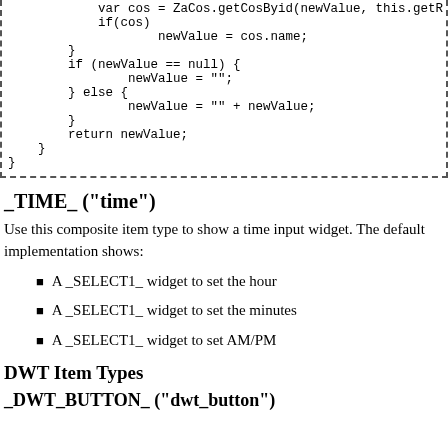[Figure (screenshot): Code block showing JavaScript snippet with var cos, if(cos), newValue assignments, null check, else block, and return statement. Enclosed in dashed border.]
_TIME_ ("time")
Use this composite item type to show a time input widget. The default implementation shows:
A _SELECT1_ widget to set the hour
A _SELECT1_ widget to set the minutes
A _SELECT1_ widget to set AM/PM
DWT Item Types
_DWT_BUTTON_ ("dwt_button")